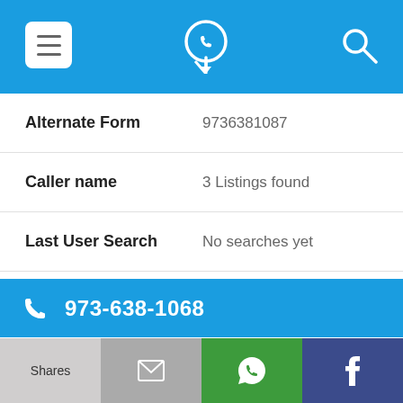[Figure (screenshot): Mobile app top navigation bar with hamburger menu icon, phone-pin logo icon, and search icon on blue background]
| Field | Value |
| --- | --- |
| Alternate Form | 9736381087 |
| Caller name | 3 Listings found |
| Last User Search | No searches yet |
| Comments |  |
973-638-1068
| Field | Value |
| --- | --- |
| Alternate Form | 9736381068 |
Shares | [email icon] | [WhatsApp icon] | f